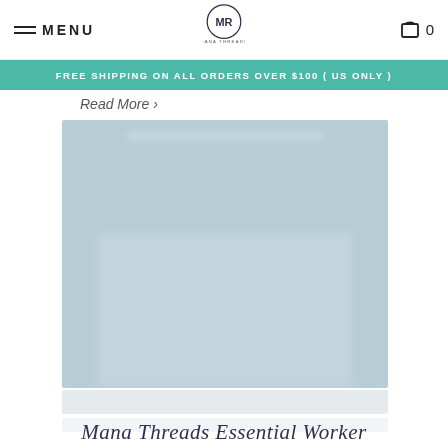MENU | [Mana Threads Logo] | 0
FREE SHIPPING ON ALL ORDERS OVER $100 ( US ONLY )
Read More ›
[Figure (screenshot): Blurred screenshot of a Mana Threads product page showing a product listing with a soft blue-grey background and a product image in the center.]
Mana Threads Essential Worker